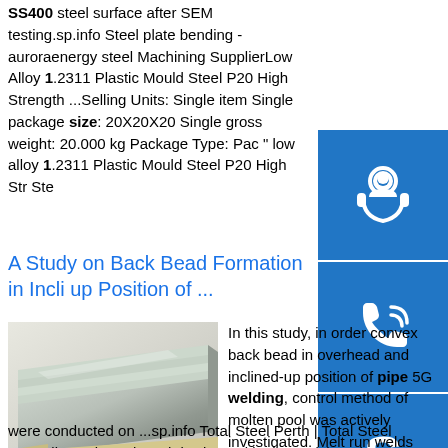SS400 steel surface after SEM testing.sp.info Steel plate bending - auroraenergy steel Machining SupplierLow Alloy 1.2311 Plastic Mould Steel P20 High Strength ...Selling Units: Single item Single package size: 20X20X20 Single gross weight: 20.000 kg Package Type: Pac " low alloy 1.2311 Plastic Mould Steel P20 High Str Ste
A Study on Back Bead Formation in Incli up Position of ...
[Figure (photo): Photo of stacked steel plates on a surface]
In this study, in order convex back bead in overhead and inclined-up position of pipe 5G welding, control method of molten pool was actively investigated. Melt run welds were conducted on ...sp.info Total Steel Perth | Total Steel AustraliaTotal Steel Perth is situated in the Welshpool